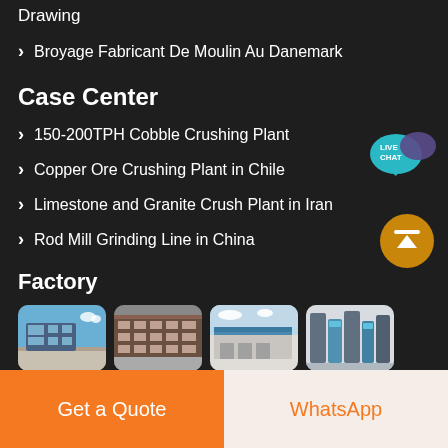Drawing
Broyage Fabricant De Moulin Au Danemark
Case Center
150-200TPH Cobble Crushing Plant
Copper Ore Crushing Plant in Chile
Limestone and Granite Crush Plant in Iran
Rod Mill Grinding Line in China
Factory
[Figure (photo): Four factory building photos showing industrial facilities and equipment]
Get a Quote
WhatsApp